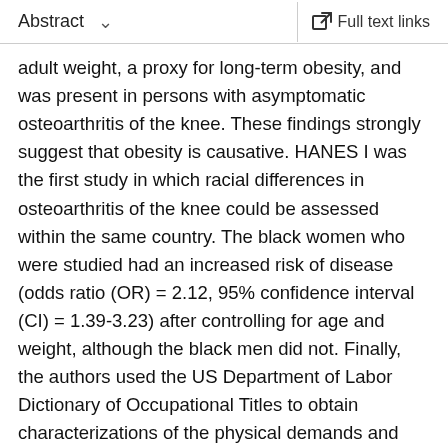Abstract   ∨   Full text links
adult weight, a proxy for long-term obesity, and was present in persons with asymptomatic osteoarthritis of the knee. These findings strongly suggest that obesity is causative. HANES I was the first study in which racial differences in osteoarthritis of the knee could be assessed within the same country. The black women who were studied had an increased risk of disease (odds ratio (OR) = 2.12, 95% confidence interval (CI) = 1.39-3.23) after controlling for age and weight, although the black men did not. Finally, the authors used the US Department of Labor Dictionary of Occupational Titles to obtain characterizations of the physical demands and knee-bending stress associated with occupations and to study the relation between physical demands of jobs and osteoarthritis of the knee. They found for persons aged 55-64 years an association between knee-bending demands and osteoarthritis of the knee (men, OR = 2.45